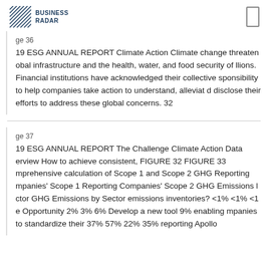BUSINESS RADAR
ge 36
19 ESG ANNUAL REPORT Climate Action Climate change threaten obal infrastructure and the health, water, and food security of llions. Financial institutions have acknowledged their collective sponsibility to help companies take action to understand, alleviat d disclose their efforts to address these global concerns. 32
ge 37
19 ESG ANNUAL REPORT The Challenge Climate Action Data erview How to achieve consistent, FIGURE 32 FIGURE 33 mprehensive calculation of Scope 1 and Scope 2 GHG Reporting mpanies' Scope 1 Reporting Companies' Scope 2 GHG Emissions l ctor GHG Emissions by Sector emissions inventories? <1% <1% <1 e Opportunity 2% 3% 6% Develop a new tool 9% enabling mpanies to standardize their 37% 57% 22% 35% reporting Apollo